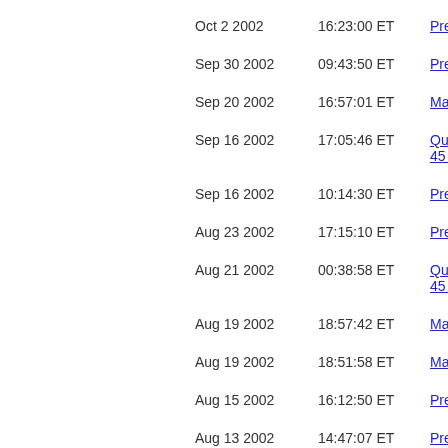| Date | Time | Link |
| --- | --- | --- |
| Oct 2 2002 | 16:23:00 ET | Press rele... |
| Sep 30 2002 | 09:43:50 ET | Press rele... |
| Sep 20 2002 | 16:57:01 ET | Material ch... |
| Sep 16 2002 | 17:05:46 ET | Qualifying i... 45 - 102 F2... |
| Sep 16 2002 | 10:14:30 ET | Press rele... |
| Aug 23 2002 | 17:15:10 ET | Press rele... |
| Aug 21 2002 | 00:38:58 ET | Qualifying i... 45 - 102 F2... |
| Aug 19 2002 | 18:57:42 ET | Material ch... |
| Aug 19 2002 | 18:51:58 ET | Material ch... |
| Aug 15 2002 | 16:12:50 ET | Press rele... |
| Aug 13 2002 | 14:47:07 ET | Press rele... |
| Aug 13 2002 | 00:07:38 ET | Qualifying i... 45 - 102 F2... |